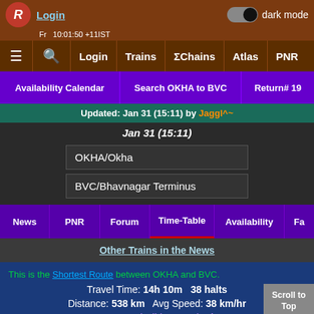Login | dark mode toggle | Trains navigation bar
Availability Calendar | Search OKHA to BVC | Return# 19
Updated: Jan 31 (15:11) by Jaggl^~
Jan 31 (15:11)
OKHA/Okha
BVC/Bhavnagar Terminus
News | PNR | Forum | Time-Table | Availability | Fa
Other Trains in the News
This is the Shortest Route between OKHA and BVC. Travel Time: 14h 10m   38 halts Distance: 538 km   Avg Speed: 38 km/hr Max Permissible Speed: n/a
Reports @ 15:15 | Scroll to Top | Scroll to